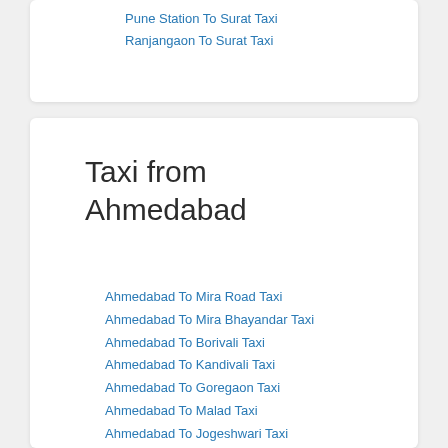Pune Station To Surat Taxi
Ranjangaon To Surat Taxi
Taxi from Ahmedabad
Ahmedabad To Mira Road Taxi
Ahmedabad To Mira Bhayandar Taxi
Ahmedabad To Borivali Taxi
Ahmedabad To Kandivali Taxi
Ahmedabad To Goregaon Taxi
Ahmedabad To Malad Taxi
Ahmedabad To Jogeshwari Taxi
Ahmedabad To Andheri Taxi
Ahmedabad To Mumbai Airport Taxi
Ahmedabad To Santacruz Taxi